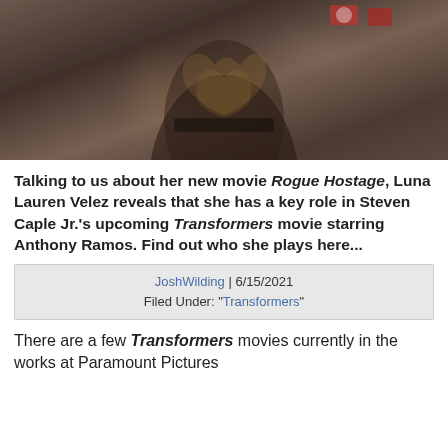[Figure (photo): Woman in dark patterned dress with gold designs, posing with hands on hips. Flags visible in background.]
Talking to us about her new movie Rogue Hostage, Luna Lauren Velez reveals that she has a key role in Steven Caple Jr.'s upcoming Transformers movie starring Anthony Ramos. Find out who she plays here...
JoshWilding | 6/15/2021
Filed Under: "Transformers"
There are a few Transformers movies currently in the works at Paramount Pictures